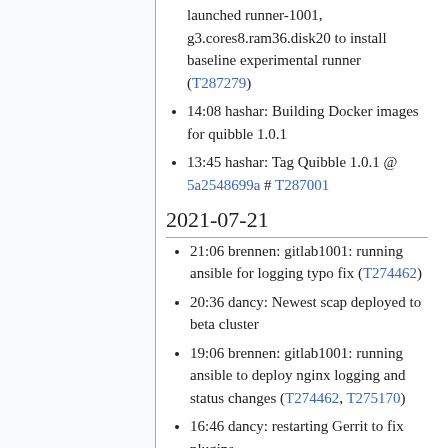launched runner-1001, g3.cores8.ram36.disk20 to install baseline experimental runner (T287279)
14:08 hashar: Building Docker images for quibble 1.0.1
13:45 hashar: Tag Quibble 1.0.1 @ 5a2548699a # T287001
2021-07-21
21:06 brennen: gitlab1001: running ansible for logging typo fix (T274462)
20:36 dancy: Newest scap deployed to beta cluster
19:06 brennen: gitlab1001: running ansible to deploy nginx logging and status changes (T274462, T275170)
16:46 dancy: restarting Gerrit to fix plugins